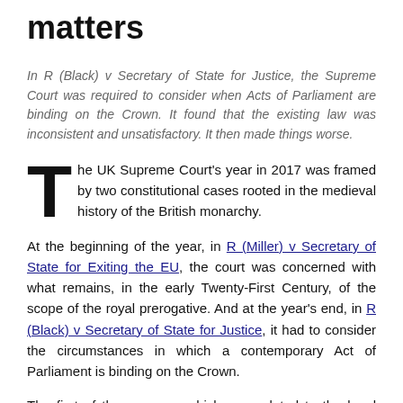matters
In R (Black) v Secretary of State for Justice, the Supreme Court was required to consider when Acts of Parliament are binding on the Crown. It found that the existing law was inconsistent and unsatisfactory. It then made things worse.
The UK Supreme Court's year in 2017 was framed by two constitutional cases rooted in the medieval history of the British monarchy.
At the beginning of the year, in R (Miller) v Secretary of State for Exiting the EU, the court was concerned with what remains, in the early Twenty-First Century, of the scope of the royal prerogative. And at the year's end, in R (Black) v Secretary of State for Justice, it had to consider the circumstances in which a contemporary Act of Parliament is binding on the Crown.
The first of these cases, which was related to the legal mechanism for delivering Brexit, achieved wide publicity. The second did not. But the judgment in Black is revealing as to the state of the UK